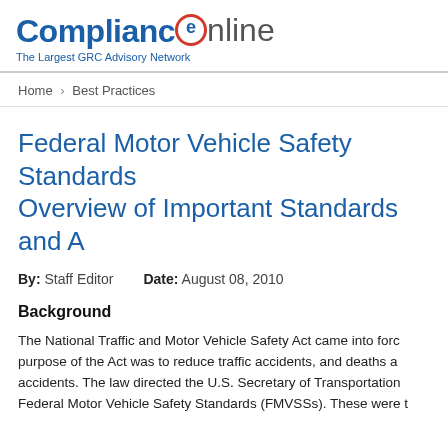[Figure (logo): ComplianceOnline logo with red circle around 'e', tagline: The Largest GRC Advisory Network]
Home › Best Practices
Federal Motor Vehicle Safety Standards Overview of Important Standards and A
By: Staff Editor    Date: August 08, 2010
Background
The National Traffic and Motor Vehicle Safety Act came into forc purpose of the Act was to reduce traffic accidents, and deaths a accidents. The law directed the U.S. Secretary of Transportatio Federal Motor Vehicle Safety Standards (FMVSSs). These were t